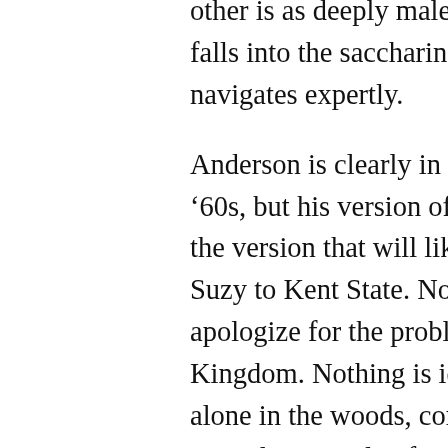other is as deeply male as it is deeply felt, and it never falls into the saccharine. It's a balancing act Anderson navigates expertly.

Anderson is clearly in love with the idea of the early '60s, but his version of the age is the Mad Men version, the version that will likely send Sam to Vietnam and Suzy to Kent State. Nostalgia doesn't cover or apologize for the problems and flaws in Moonrise Kingdom. Nothing is idyllic, save for Sam and Suzy, alone in the woods, constantly hunted. It's a stirring, unapologetic tale of young love, and